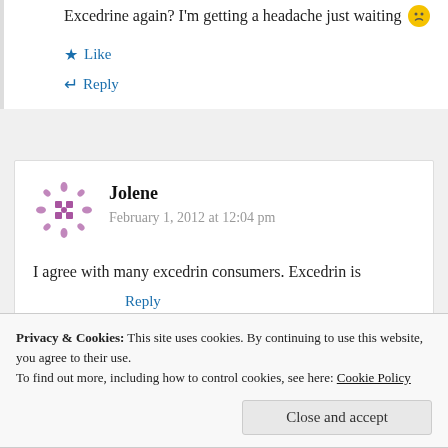Excedrine again? I'm getting a headache just waiting 😕
Like
Reply
Jolene
February 1, 2012 at 12:04 pm
I agree with many excedrin consumers. Excedrin is
Reply
Privacy & Cookies: This site uses cookies. By continuing to use this website, you agree to their use.
To find out more, including how to control cookies, see here: Cookie Policy
Close and accept